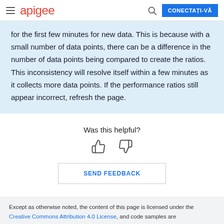apigee | CONECTAȚI-VĂ
for the first few minutes for new data. This is because with a small number of data points, there can be a difference in the number of data points being compared to create the ratios. This inconsistency will resolve itself within a few minutes as it collects more data points. If the performance ratios still appear incorrect, refresh the page.
Was this helpful?
SEND FEEDBACK
Except as otherwise noted, the content of this page is licensed under the Creative Commons Attribution 4.0 License, and code samples are